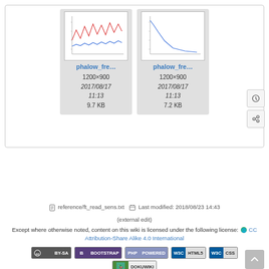[Figure (screenshot): Two thumbnail image cards side by side. Left card shows a line chart labeled 'phalow_fre...' with dimensions 1200×900, date 2017/08/17 11:13, size 9.7 KB. Right card shows another line chart labeled 'phalow_fre...' with dimensions 1200×900, date 2017/08/17 11:13, size 7.2 KB.]
reference/ft_read_sens.txt   Last modified: 2018/08/23 14:43 (external edit)
Except where otherwise noted, content on this wiki is licensed under the following license: CC Attribution-Share Alike 4.0 International
[Figure (screenshot): Row of license/technology badges: CC BY-SA, Bootstrap, PHP Powered, W3C HTML5, W3C CSS, DokuWiki]